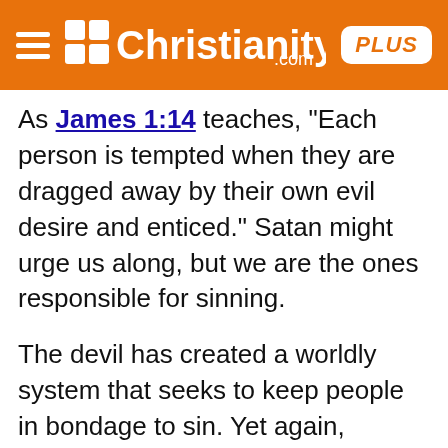Christianity.com PLUS
As James 1:14 teaches, “Each person is tempted when they are dragged away by their own evil desire and enticed.” Satan might urge us along, but we are the ones responsible for sinning.
The devil has created a worldly system that seeks to keep people in bondage to sin. Yet again, though, he does not control people to make them sin. Instead, he actively blinds unbelievers to the truth of the gospel (2 Corinthians 4:4).